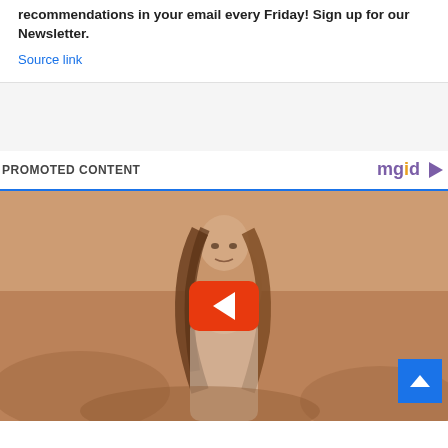recommendations in your email every Friday! Sign up for our Newsletter.
Source link
PROMOTED CONTENT
[Figure (photo): Woman with long brown hair in an outdoor desert setting, with a YouTube-style play button overlay and a blue scroll-up button in the bottom right corner.]